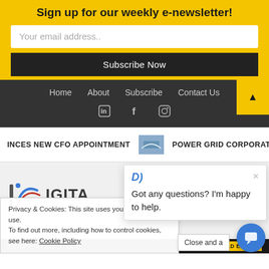Sign up for our weekly e-newsletter!
Your email address..
Subscribe Now
Home  About  Subscribe  Contact Us
INCES NEW CFO APPOINTMENT
POWER GRID CORPORATION AF
[Figure (screenshot): Partial logo with blue arc/wifi-like symbol and text 'IGITA']
Got any questions? I'm happy to help.
Privacy & Cookies: This site uses cookies. By continuing to use this website, you agree to their use. To find out more, including how to control cookies, see here: Cookie Policy
Close and a
did not know was possible.